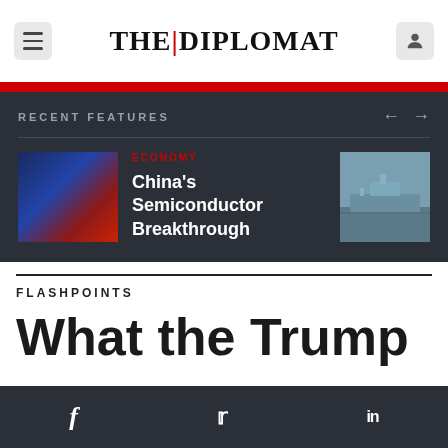THE | DIPLOMAT
RECENT FEATURES
[Figure (photo): Thumbnail of China semiconductor chip with Chinese flag overlay]
ECONOMY
China's Semiconductor Breakthrough
[Figure (photo): Thumbnail of a naval warship at sea]
FLASHPOINTS
What the Trump